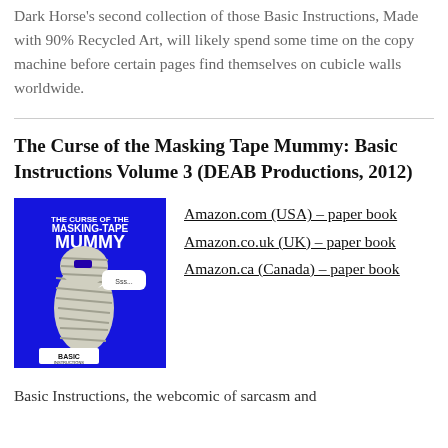Dark Horse's second collection of those Basic Instructions, Made with 90% Recycled Art, will likely spend some time on the copy machine before certain pages find themselves on cubicle walls worldwide.
The Curse of the Masking Tape Mummy: Basic Instructions Volume 3 (DEAB Productions, 2012)
[Figure (illustration): Book cover for 'The Curse of the Masking-Tape Mummy' — blue background with a mummy illustration and the text 'THE CURSE OF THE MASKING-TAPE MUMMY', subtitle 'BASIC INSTRUCTIONS']
Amazon.com (USA) – paper book
Amazon.co.uk (UK) – paper book
Amazon.ca (Canada) – paper book
Basic Instructions, the webcomic of sarcasm and